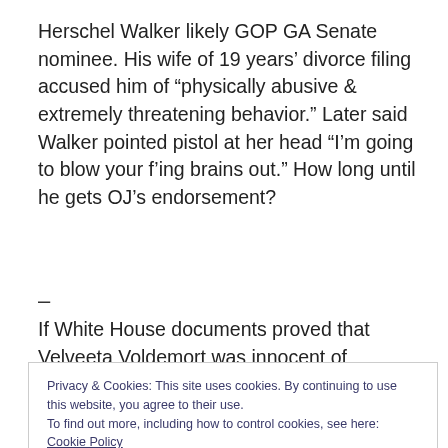Herschel Walker likely GOP GA Senate nominee. His wife of 19 years' divorce filing accused him of “physically abusive & extremely threatening behavior.” Later said Walker pointed pistol at her head “I’m going to blow your f’ing brains out.” How long until he gets OJ’s endorsement?
–
If White House documents proved that Velveeta Voldemort was innocent of organizing & abetting January 6 coup
Privacy & Cookies: This site uses cookies. By continuing to use this website, you agree to their use.
To find out more, including how to control cookies, see here: Cookie Policy
Close and accept